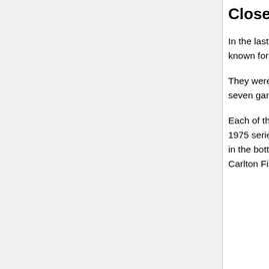Close, But No Cigar (1968-2003)
In the last three decades of the 20th Century and the cusp of the 21st, the Red Sox were known for having good teams that could not win the ultimate prize of a world championship.
They were American League champions in 1975 and 1986, but lost both World Series in seven games to the Cincinnati Reds and New York Mets, respectively.
Each of the two World Series had a particularly noteworthy element to it. Game 6 of the 1975 series featured what has been called one of “baseball’s most photographic moments”: in the bottom of the twelfth inning, at Fenway, with the score tied at 6-6, Red Sox catcher Carlton Fisk hit a high fly ball, and as the